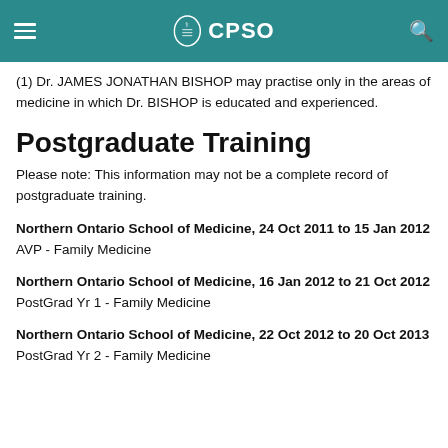CPSO
(1) Dr. JAMES JONATHAN BISHOP may practise only in the areas of medicine in which Dr. BISHOP is educated and experienced.
Postgraduate Training
Please note: This information may not be a complete record of postgraduate training.
Northern Ontario School of Medicine, 24 Oct 2011 to 15 Jan 2012
AVP - Family Medicine
Northern Ontario School of Medicine, 16 Jan 2012 to 21 Oct 2012
PostGrad Yr 1 - Family Medicine
Northern Ontario School of Medicine, 22 Oct 2012 to 20 Oct 2013
PostGrad Yr 2 - Family Medicine